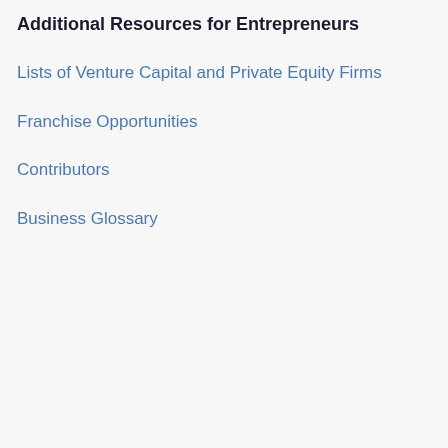Additional Resources for Entrepreneurs
Lists of Venture Capital and Private Equity Firms
Franchise Opportunities
Contributors
Business Glossary